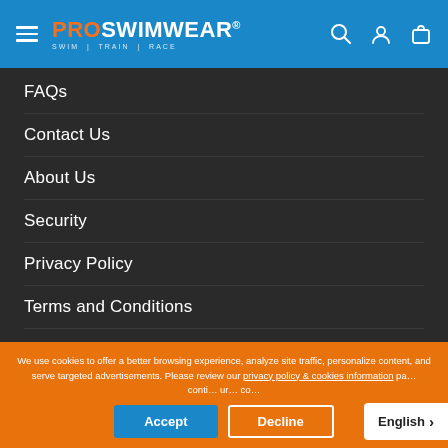[Figure (logo): ProSwimwear logo with hamburger menu icon and navigation icons (search, account, cart) on blue header background]
FAQs
Contact Us
About Us
Security
Privacy Policy
Terms and Conditions
Delivery Information
Returns Information
Size Charts
Swimsuit Care
Price Match
We use cookies to offer a better browsing experience, analyze site traffic, personalize content, and serve targeted advertisements. Please review our privacy policy & cookies information page to continue to use our website.